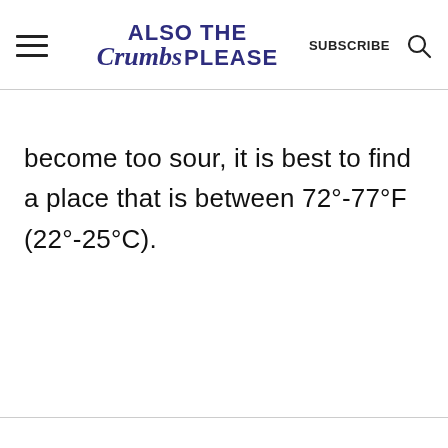ALSO THE Crumbs PLEASE | SUBSCRIBE
become too sour, it is best to find a place that is between 72°-77°F (22°-25°C).